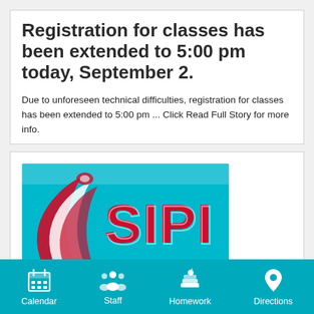Registration for classes has been extended to 5:00 pm today, September 2.
Due to unforeseen technical difficulties, registration for classes has been extended to 5:00 pm ... Click Read Full Story for more info.
[Figure (logo): SIPI logo — teal/cyan background with large bold red letters 'SIPI' and a stylized red and white feather/arch design on the left]
Calendar  Staff  Homework  Directions